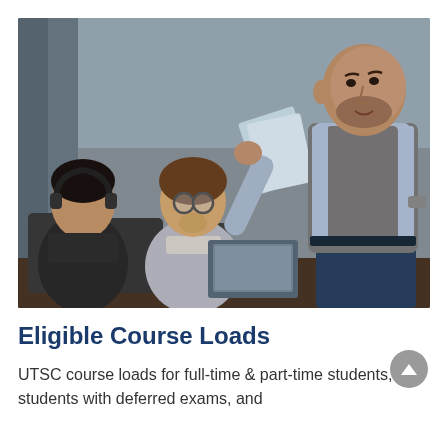[Figure (photo): A professor or instructor standing and holding papers, gesturing while speaking. Two students are seated at a conference-style table in the foreground, one with glasses, appearing to listen. The setting is a modern classroom or meeting room.]
Eligible Course Loads
UTSC course loads for full-time & part-time students, students with deferred exams, and